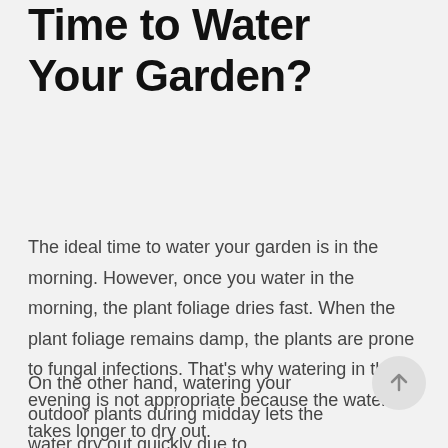What is the Ideal Time to Water Your Garden?
The ideal time to water your garden is in the morning. However, once you water in the morning, the plant foliage dries fast. When the plant foliage remains damp, the plants are prone to fungal infections. That's why watering in the evening is not appropriate because the water takes longer to dry out.
On the other hand, watering your outdoor plants during midday lets the water dry out quickly due to evaporation; hence the plants get minimal benefits.